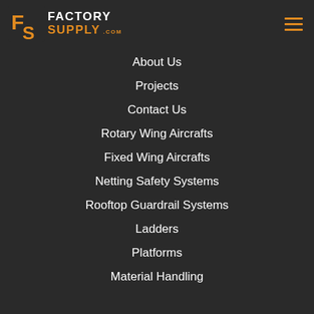[Figure (logo): Factory Supply logo with FS icon in orange and white, text FACTORY SUPPLY .com]
About Us
Projects
Contact Us
Rotary Wing Aircrafts
Fixed Wing Aircrafts
Netting Safety Systems
Rooftop Guardrail Systems
Ladders
Platforms
Material Handling